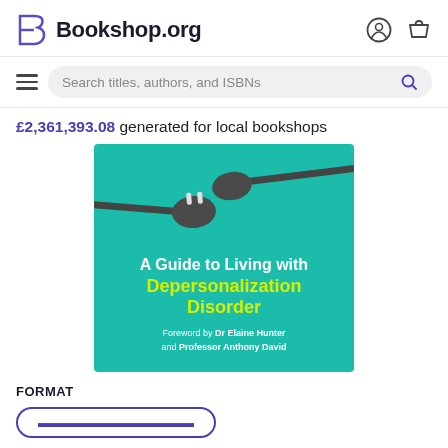Bookshop.org
Search titles, authors, and ISBNs
£2,361,393.08 generated for local bookshops
[Figure (photo): Book cover for 'A Guide to Living with Depersonalization Disorder' on a teal background with a disconnected electrical plug graphic. Foreword by Dr Elaine Hunter and Professor Anthony David.]
FORMAT